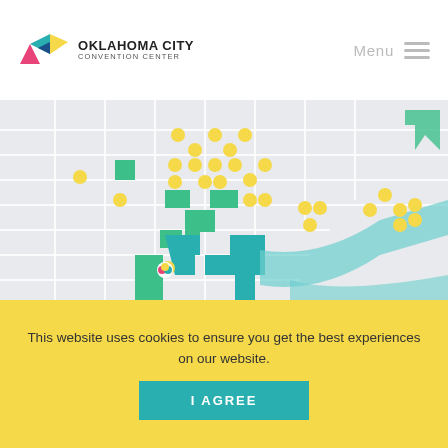OKLAHOMA CITY CONVENTION CENTER | Menu
[Figure (map): Stylized city map of Oklahoma City showing streets, green building footprints, teal highway/river elements, and yellow location pin markers scattered across the downtown grid.]
OKLAHOMA CITY
This website uses cookies to ensure you get the best experiences on our website.
I AGREE